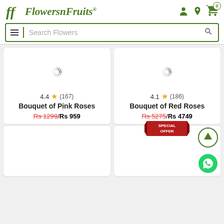FlowersnFruits - Search Flowers
[Figure (screenshot): Product card: Bouquet of Pink Roses, rating 4.4 stars (167 reviews), price Rs 1299 crossed out / Rs 959]
[Figure (screenshot): Product card: Bouquet of Red Roses, rating 4.1 stars (186 reviews), price Rs 5275 crossed out / Rs 4749]
[Figure (screenshot): Product card bottom left, loading spinner visible]
[Figure (screenshot): Product card bottom right with Special Offer badge, loading spinner visible]